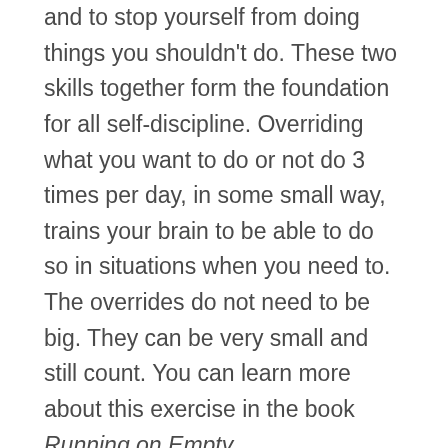and to stop yourself from doing things you shouldn't do. These two skills together form the foundation for all self-discipline. Overriding what you want to do or not do 3 times per day, in some small way, trains your brain to be able to do so in situations when you need to. The overrides do not need to be big. They can be very small and still count. You can learn more about this exercise in the book Running on Empty.
Your 2021 Resolution: Every day of this year I will, three times, in some small way, make myself do something I don't want to